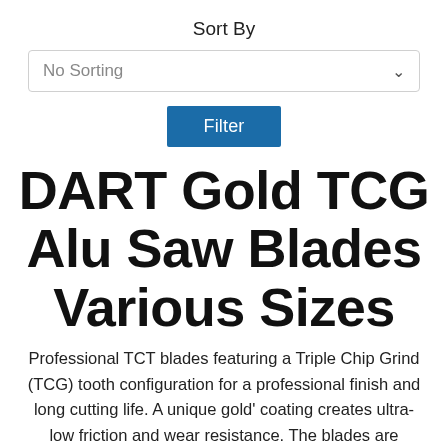Sort By
No Sorting
Filter
DART Gold TCG Alu Saw Blades Various Sizes
Professional TCT blades featuring a Triple Chip Grind (TCG) tooth configuration for a professional finish and long cutting life. A unique gold' coating creates ultra-low friction and wear resistance. The blades are